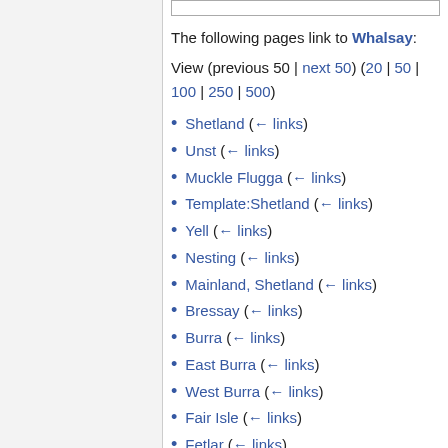The following pages link to Whalsay:
View (previous 50 | next 50) (20 | 50 | 100 | 250 | 500)
Shetland ( ← links)
Unst ( ← links)
Muckle Flugga ( ← links)
Template:Shetland ( ← links)
Yell ( ← links)
Nesting ( ← links)
Mainland, Shetland ( ← links)
Bressay ( ← links)
Burra ( ← links)
East Burra ( ← links)
West Burra ( ← links)
Fair Isle ( ← links)
Fetlar ( ← links)
Foula ( ← links)
Muckle Roe ( ← links)